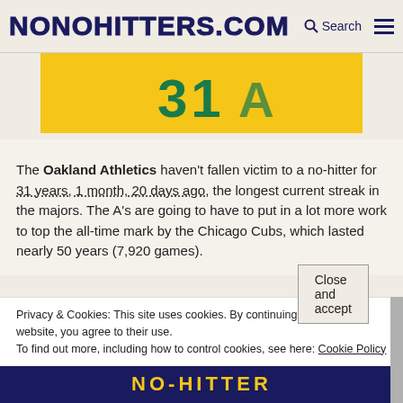NONOHITTERS.COM  Search
[Figure (photo): Oakland Athletics yellow jersey showing number 31 and partial logo in green]
The Oakland Athletics haven't fallen victim to a no-hitter for 31 years, 1 month, 20 days ago, the longest current streak in the majors. The A's are going to have to put in a lot more work to top the all-time mark by the Chicago Cubs, which lasted nearly 50 years (7,920 games).
The Mets – Our origin
Privacy & Cookies: This site uses cookies. By continuing to use this website, you agree to their use.
To find out more, including how to control cookies, see here: Cookie Policy
[Figure (logo): Mets circular logo]
[Figure (photo): Bottom banner with NO-HITTER text in yellow on dark blue background]